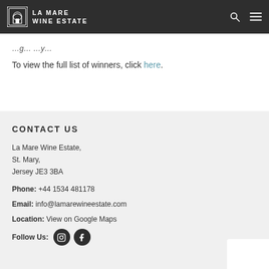LA MARE WINE ESTATE
To view the full list of winners, click here.
CONTACT US
La Mare Wine Estate,
St. Mary,
Jersey JE3 3BA
Phone: +44 1534 481178
Email: info@lamarewineestate.com
Location: View on Google Maps
Follow Us: